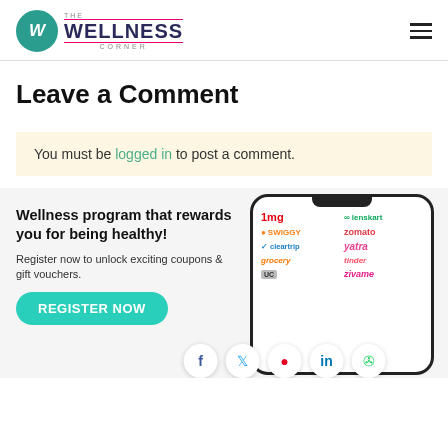The Wellness Corner
Leave a Comment
You must be logged in to post a comment.
[Figure (infographic): Wellness program banner with phone mockup showing partner brand logos (1mg, lenskart, swiggy, zomato, cleartrip, yatra, grofers, tinder, UC, zivame) and a Register Now button. Social share icons (Facebook, Twitter, Pinterest, LinkedIn, WhatsApp) at bottom.]